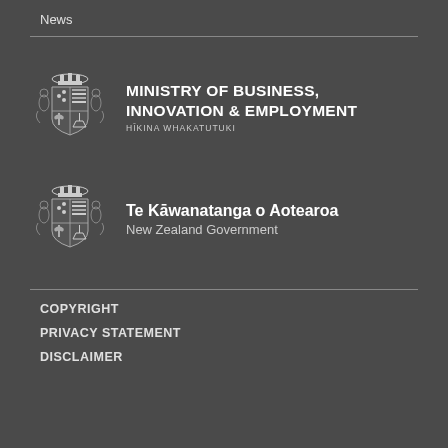News
[Figure (logo): Ministry of Business, Innovation & Employment coat of arms logo with text: MINISTRY OF BUSINESS, INNOVATION & EMPLOYMENT, HĪKINA WHAKATUTUKI]
[Figure (logo): New Zealand Government coat of arms logo with text: Te Kāwanatanga o Aotearoa, New Zealand Government]
COPYRIGHT
PRIVACY STATEMENT
DISCLAIMER